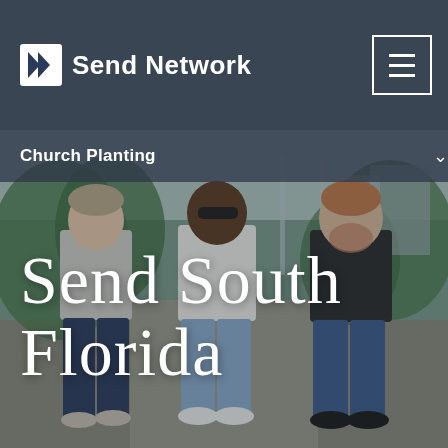[Figure (screenshot): Website screenshot of Send Network church planting page. Three men walking outdoors on a path with trees and buildings in background. Header shows Send Network logo and hamburger menu. Navigation shows 'Church Planting' with chevron. Large script text overlay reads 'Send South Florida'.]
Send Network
Church Planting
Send South Florida